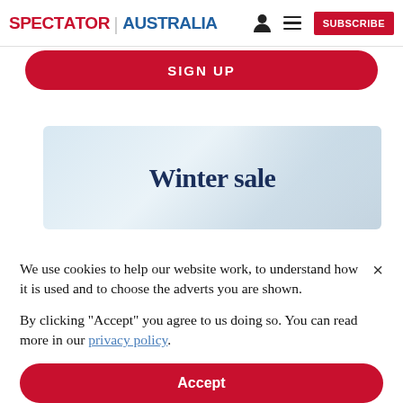SPECTATOR | AUSTRALIA   [user icon] [menu icon]   SUBSCRIBE
[Figure (screenshot): Partial red SIGN-UP button with rounded corners, cropped at top]
[Figure (illustration): Winter sale promotional banner with light blue/grey textured background and dark navy serif text reading 'Winter sale']
We use cookies to help our website work, to understand how it is used and to choose the adverts you are shown.
By clicking "Accept" you agree to us doing so. You can read more in our privacy policy.
Accept